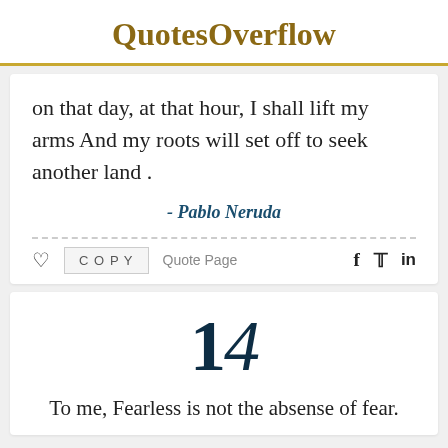QuotesOverflow
on that day, at that hour, I shall lift my arms And my roots will set off to seek another land .
- Pablo Neruda
14
To me, Fearless is not the absense of fear.